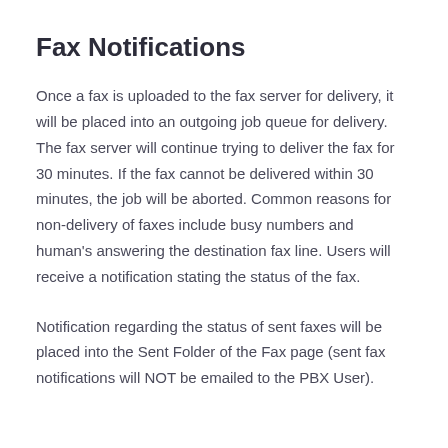Fax Notifications
Once a fax is uploaded to the fax server for delivery, it will be placed into an outgoing job queue for delivery. The fax server will continue trying to deliver the fax for 30 minutes. If the fax cannot be delivered within 30 minutes, the job will be aborted. Common reasons for non-delivery of faxes include busy numbers and human's answering the destination fax line. Users will receive a notification stating the status of the fax.
Notification regarding the status of sent faxes will be placed into the Sent Folder of the Fax page (sent fax notifications will NOT be emailed to the PBX User).